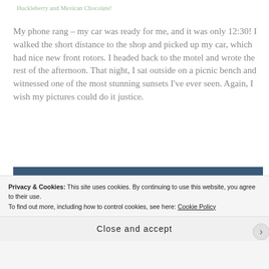Huckleberry and Mexican Chocolate!
My phone rang – my car was ready for me, and it was only 12:30! I walked the short distance to the shop and picked up my car, which had nice new front rotors. I headed back to the motel and wrote the rest of the afternoon. That night, I sat outside on a picnic bench and witnessed one of the most stunning sunsets I've ever seen. Again, I wish my pictures could do it justice.
[Figure (photo): Wide panoramic photograph of a dramatic sunset sky with golden-lit clouds against a deep blue sky.]
Privacy & Cookies: This site uses cookies. By continuing to use this website, you agree to their use.
To find out more, including how to control cookies, see here: Cookie Policy
Close and accept